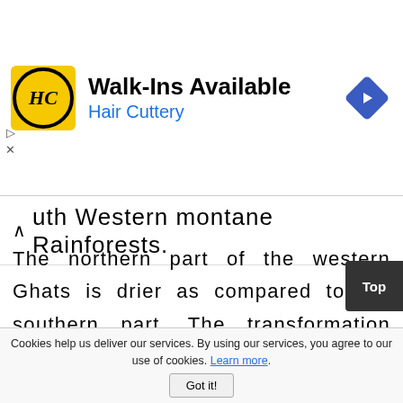[Figure (advertisement): Hair Cuttery ad banner with yellow HC logo, text 'Walk-Ins Available' and 'Hair Cuttery', blue navigation diamond icon on right]
South Western montane Rainforests.
The northern part of the western Ghats is drier as compared to the southern part. The transformation from northern to southern ecological regions of the Western Ghats starts from the evergreen forests in Waynand. The mountain range
Cookies help us deliver our services. By using our services, you agree to our use of cookies. Learn more. Got it!